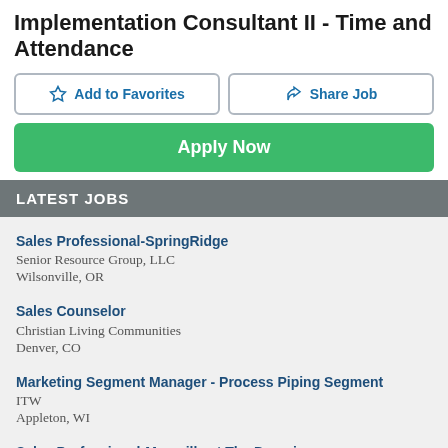Implementation Consultant II - Time and Attendance
Add to Favorites
Share Job
Apply Now
LATEST JOBS
Sales Professional-SpringRidge
Senior Resource Group, LLC
Wilsonville, OR
Sales Counselor
Christian Living Communities
Denver, CO
Marketing Segment Manager - Process Piping Segment
ITW
Appleton, WI
Sales Professional-Maravilla at The Domain